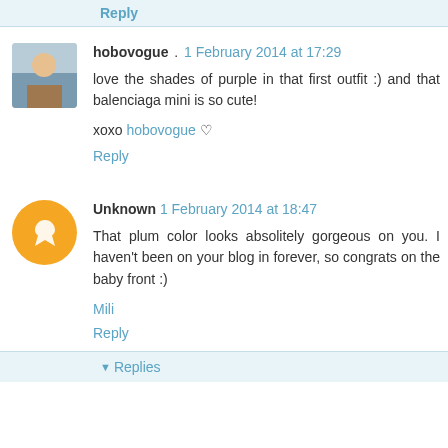Reply
hobovogue . 1 February 2014 at 17:29
love the shades of purple in that first outfit :) and that balenciaga mini is so cute!
xoxo hobovogue ♡
Reply
Unknown 1 February 2014 at 18:47
That plum color looks absolitely gorgeous on you. I haven't been on your blog in forever, so congrats on the baby front :)
Mili
Reply
▼ Replies